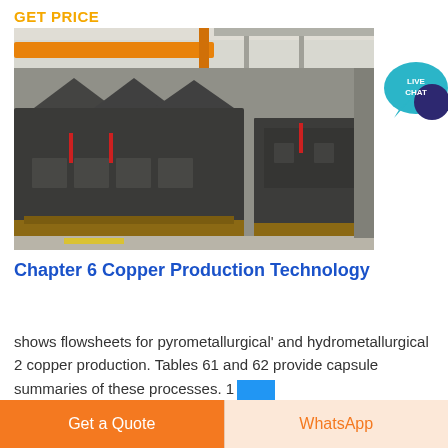GET PRICE
[Figure (photo): Industrial machinery equipment in a large factory/warehouse setting. Large black metal crushing or processing machines on wooden pallets inside a building with yellow overhead crane beams visible.]
[Figure (logo): Live Chat speech bubble icon in teal/dark blue colors with text LIVE CHAT]
Chapter 6 Copper Production Technology
shows flowsheets for pyrometallurgical' and hydrometallurgical 2 copper production. Tables 61 and 62 provide capsule summaries of these processes. 1